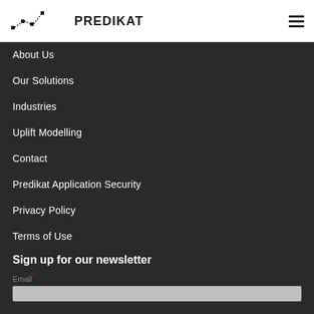[Figure (logo): Predikat logo with line-chart style graphic and bold PREDIKAT text]
About Us
Our Solutions
Industries
Uplift Modelling
Contact
Predikat Application Security
Privacy Policy
Terms of Use
Sign up for our newsletter
Email *